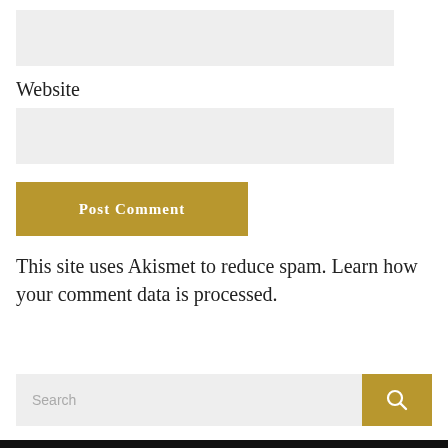[Figure (other): Grey input field box at top of page (form field)]
Website
[Figure (other): Grey input field box for website URL]
Post Comment
This site uses Akismet to reduce spam. Learn how your comment data is processed.
[Figure (other): Search bar with grey input and gold search button with magnifying glass icon]
Hello
[Figure (photo): Partially visible circular profile photo of a person wearing glasses]